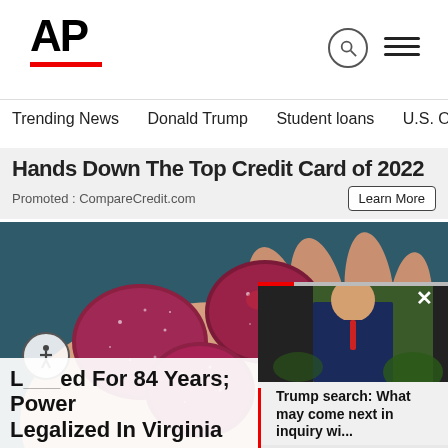AP
Trending News    Donald Trump    Student loans    U.S. Open Tenn
Hands Down The Top Credit Card of 2022
Promoted : CompareCredit.com
Learn More
[Figure (photo): A hand holding several red sugary gummy candies]
L___ed For 84 Years; Power Legalized In Virginia
[Figure (photo): Video widget thumbnail showing a man in a suit, with caption: Trump search: What may come next in inquiry wi...]